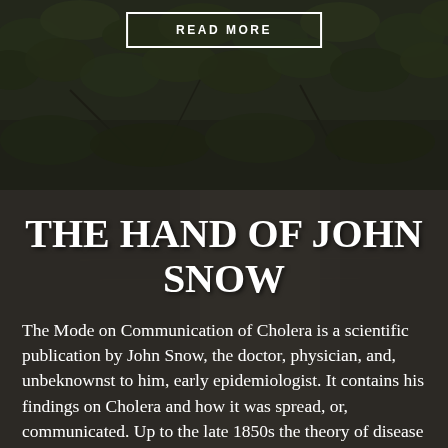[Figure (photo): Dark background photo of leaves and foliage with a 'READ MORE' button overlay]
[Figure (photo): Background image of aged handwritten document/paper with dark overlay]
THE HAND OF JOHN SNOW
The Mode on Communication of Cholera is a scientific publication by John Snow, the doctor, physician, and, unbeknownst to him, early epidemiologist. It contains his findings on Cholera and how it was spread, or, communicated. Up to the late 1850s the theory of disease contamination was one of